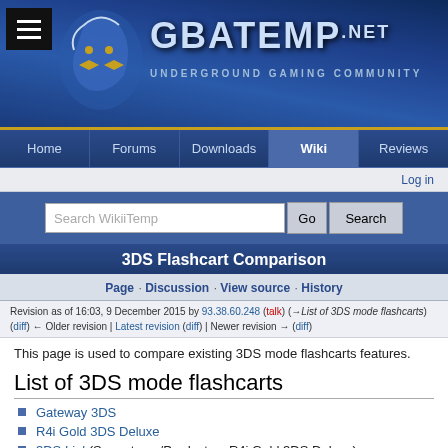[Figure (screenshot): GBAtemp.net website header banner with logo, hamburger menu, and site title]
GBATEMP.NET — UNDERGROUND GAMING COMMUNITY
Home · Forums · Downloads · Wiki · Reviews
Log in
Search WikiiTemp | Go | Search
3DS Flashcart Comparison
Page · Discussion · View source · History
Revision as of 16:03, 9 December 2015 by 93.38.60.248 (talk) (→List of 3DS mode flashcarts) (diff) ← Older revision | Latest revision (diff) | Newer revision → (diff)
This page is used to compare existing 3DS mode flashcarts features.
List of 3DS mode flashcarts
Gateway 3DS
R4i Gold 3DS Deluxe
3DS Link (Same team/Product as R4i Gold 3DS Deluxe)
Orange 3DS (Same team/Product as R4i Gold 3DS Deluxe)